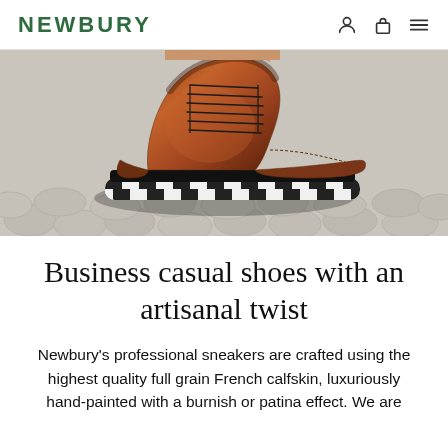NEWBURY
[Figure (photo): Close-up photo of a brown leather sneaker/business casual shoe with laces and a white/black patterned sole, suspended above a cobblestone surface. The shoe features a rich cognac/mahogany burnished patina finish.]
Business casual shoes with an artisanal twist
Newbury's professional sneakers are crafted using the highest quality full grain French calfskin, luxuriously hand-painted with a burnish or patina effect. We are